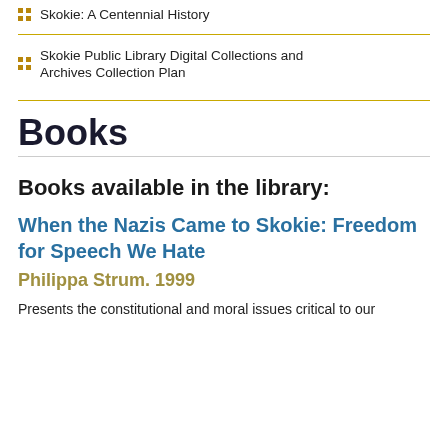Skokie: A Centennial History
Skokie Public Library Digital Collections and Archives Collection Plan
Books
Books available in the library:
When the Nazis Came to Skokie: Freedom for Speech We Hate
Philippa Strum. 1999
Presents the constitutional and moral issues critical to our